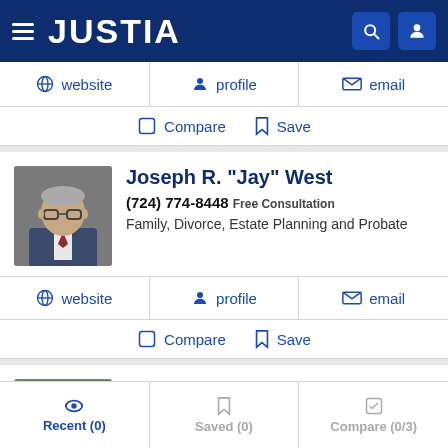JUSTIA
website | profile | email
Compare  Save
Joseph R. "Jay" West
(724) 774-8448 Free Consultation
Family, Divorce, Estate Planning and Probate
website | profile | email
Compare  Save
Amanda Catherine Cook
Recent (0)  Saved (0)  Compare (0/3)